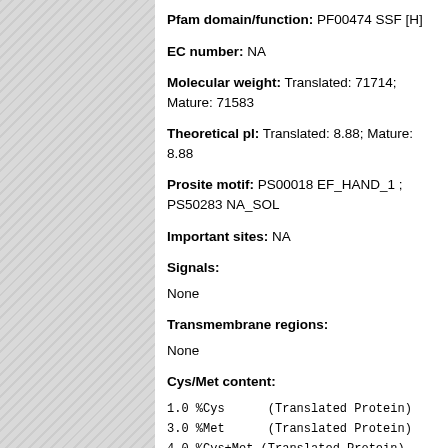Pfam domain/function: PF00474 SSF [H]
EC number: NA
Molecular weight: Translated: 71714; Mature: 71583
Theoretical pI: Translated: 8.88; Mature: 8.88
Prosite motif: PS00018 EF_HAND_1 ; PS50283 NA_SOL
Important sites: NA
Signals:
None
Transmembrane regions:
None
Cys/Met content:
1.0 %Cys      (Translated Protein)
3.0 %Met      (Translated Protein)
4.0 %Cys+Met (Translated Protein)
1.0 %Cys      (Mature Protein)
2.8 %Met      (Mature Protein)